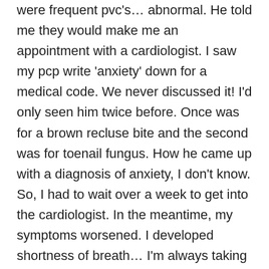were frequent pvc's… abnormal. He told me they would make me an appointment with a cardiologist. I saw my pcp write 'anxiety' down for a medical code. We never discussed it! I'd only seen him twice before. Once was for a brown recluse bite and the second was for toenail fungus. How he came up with a diagnosis of anxiety, I don't know. So, I had to wait over a week to get into the cardiologist. In the meantime, my symptoms worsened. I developed shortness of breath… I'm always taking deep breaths…or trying. Half the time I can't. If I walk to the kitchen and back, I start feeling horrible. I can't even take a nap for all the pvc's. I'm lightheaded and am extremely fatigued. I had my appointment and I like the guy. To make a long story short, he doesn't know what's wrong.